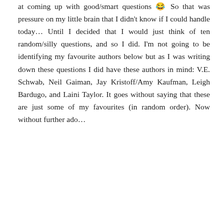at coming up with good/smart questions 😂 So that was pressure on my little brain that I didn't know if I could handle today… Until I decided that I would just think of ten random/silly questions, and so I did. I'm not going to be identifying my favourite authors below but as I was writing down these questions I did have these authors in mind: V.E. Schwab, Neil Gaiman, Jay Kristoff/Amy Kaufman, Leigh Bardugo, and Laini Taylor. It goes without saying that these are just some of my favourites (in random order). Now without further ado…
[Figure (illustration): A cartoon panda lying down reading a book with a purple cover. Flanked by orange dotted lines with orange circle endpoints on both sides.]